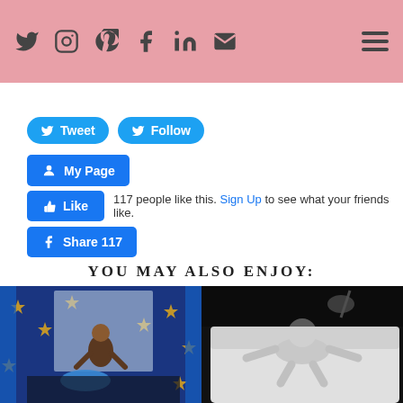Social media icons: Twitter, Instagram, Pinterest, Facebook, LinkedIn, Email, Hamburger menu
[Figure (screenshot): Twitter Tweet button (blue rounded pill)]
[Figure (screenshot): Twitter Follow button (blue rounded pill)]
[Figure (screenshot): Facebook My Page button (blue)]
[Figure (screenshot): Facebook Like button with text '117 people like this. Sign Up to see what your friends like.']
[Figure (screenshot): Facebook Share 117 button (blue)]
YOU MAY ALSO ENJOY:
[Figure (photo): Child sitting inside a blue star-themed inflatable tent or bouncy structure with blue pillow]
[Figure (photo): Black and white photo of a baby/toddler lying on a white couch with a lamp in the background]